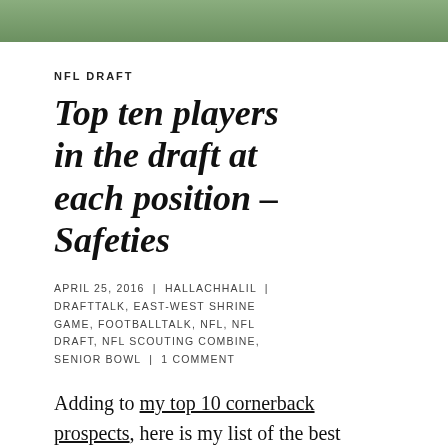[Figure (photo): Top portion of a football field image, green grass visible, partially cropped at top of page]
NFL DRAFT
Top ten players in the draft at each position – Safeties
APRIL 25, 2016 | HALLACHHALIL | DRAFTTALK, EAST-WEST SHRINE GAME, FOOTBALLTALK, NFL, NFL DRAFT, NFL SCOUTING COMBINE, SENIOR BOWL | 1 COMMENT
Adding to my top 10 cornerback prospects, here is my list of the best safeties available. The skill-sets of these guys are very different and